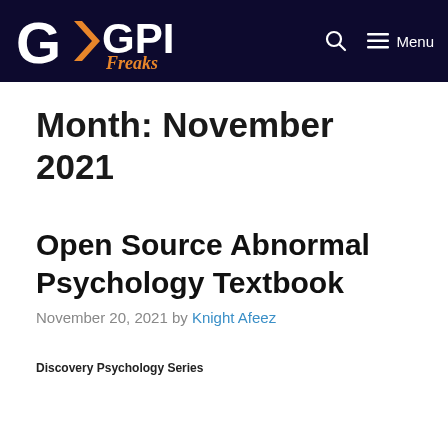GPI Freaks — Menu
Month: November 2021
Open Source Abnormal Psychology Textbook
November 20, 2021 by Knight Afeez
Discovery Psychology Series